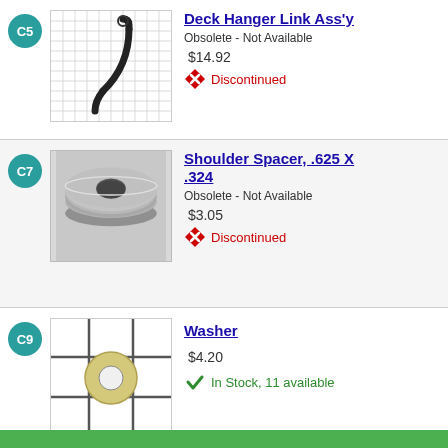C5 - Deck Hanger Link Ass'y - Obsolete - Not Available - $14.92 - Discontinued
C7 - Shoulder Spacer, .625 X .324 - Obsolete - Not Available - $3.05 - Discontinued
C9 - Washer - $4.20 - In Stock, 11 available